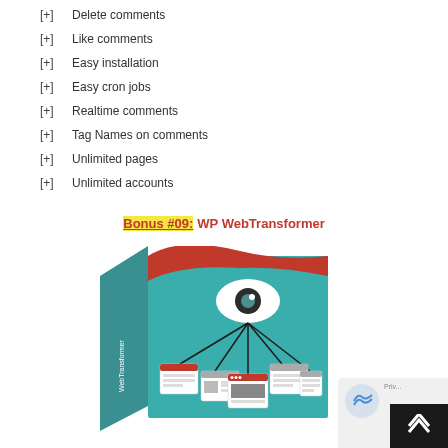[+]  Delete comments
[+]  Like comments
[+]  Easy installation
[+]  Easy cron jobs
[+]  Realtime comments
[+]  Tag Names on comments
[+]  Unlimited pages
[+]  Unlimited accounts
Bonus #09: WP WebTransformer
[Figure (illustration): Product box for WP WebTransformer plugin showing a teal box with an eye icon connected to multiple browser windows, with 'WP WebTransformer' text on the front and side of the box.]